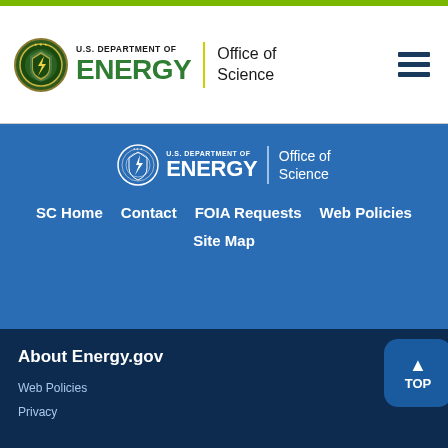[Figure (logo): U.S. Department of Energy Office of Science header logo with seal, green ENERGY text, and hamburger menu icon]
[Figure (logo): U.S. Department of Energy Office of Science white logo on blue background]
SC Home
Contact
FOIA Requests
Web Policies
Site Map
About Energy.gov
Web Policies
Privacy